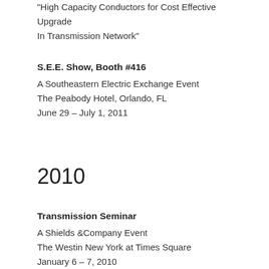"High Capacity Conductors for Cost Effective Upgrade In Transmission Network"
S.E.E. Show, Booth #416
A Southeastern Electric Exchange Event
The Peabody Hotel, Orlando, FL
June 29 – July 1, 2011
2010
Transmission Seminar
A Shields &Company Event
The Westin New York at Times Square
January 6 – 7, 2010
Speaking Slot: Don Douglas, January 7, 2010 2:00 PM
NRECA Tech Advantage Conference & Expo, Booth